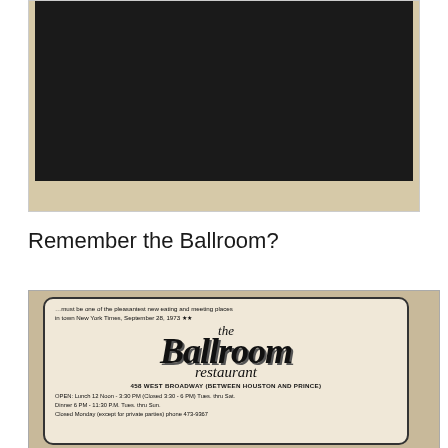[Figure (photo): Top portion of a framed photograph or sign with a black rectangular area against a beige/cream background, partially cropped.]
Remember the Ballroom?
[Figure (photo): Scanned newspaper or print advertisement for 'the Ballroom restaurant' at 458 West Broadway (between Houston and Prince). Includes a quote from the New York Times, September 28, 1973 reading '...must be one of the pleasantest new eating and meeting places in town'. Lists hours: Lunch 12 Noon - 3:30 PM (Closed 3:30 - 6 PM) Tues thru Sat, Dinner 6 PM - 11:30 PM Tues thru Sun. Closed Monday (except for private parties), phone 473-9367.]